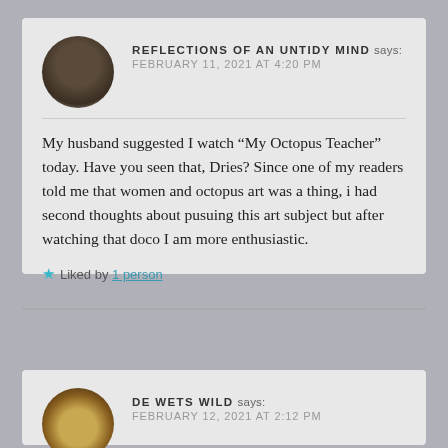REFLECTIONS OF AN UNTIDY MIND says: FEBRUARY 11, 2021 AT 4:20 PM
My husband suggested I watch “My Octopus Teacher” today. Have you seen that, Dries? Since one of my readers told me that women and octopus art was a thing, i had second thoughts about pusuing this art subject but after watching that doco I am more enthusiastic.
★ Liked by 1person
DE WETS WILD says: FEBRUARY 12, 2021 AT 2:12 PM